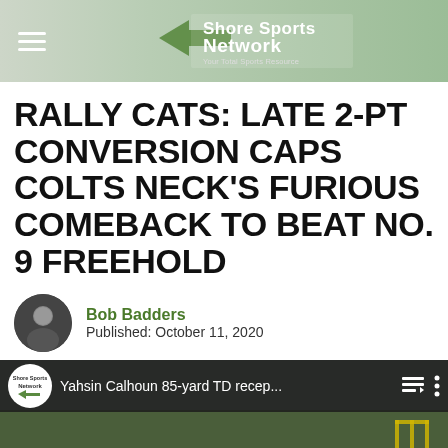Shore Sports Network
RALLY CATS: LATE 2-PT CONVERSION CAPS COLTS NECK'S FURIOUS COMEBACK TO BEAT NO. 9 FREEHOLD
Bob Badders
Published: October 11, 2020
[Figure (screenshot): YouTube video thumbnail showing a football field scene with players in the foreground. Video title reads 'Yahsin Calhoun 85-yard TD recep...' with Shore Sports Network logo.]